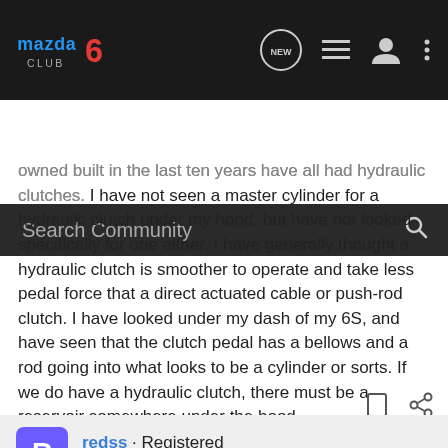[Figure (logo): Mazda6 Club logo in blue and red on dark background navigation bar with icons for new posts, list, user, and more]
Search Community
owned built in the last ten years have all had hydraulic clutches. I have not seen a master cylinder for a hydraulic clutch under my hood, but have not looked specifically for one either. I have generally thought a hydraulic clutch is smoother to operate and take less pedal force that a direct actuated cable or push-rod clutch. I have looked under my dash of my 6S, and have seen that the clutch pedal has a bellows and a rod going into what looks to be a cylinder or sorts. If we do have a hydraulic clutch, there must be a reservoir somewhere under the hood.
redss · Registered
Joined Mar 2, 2003 · 229 Posts